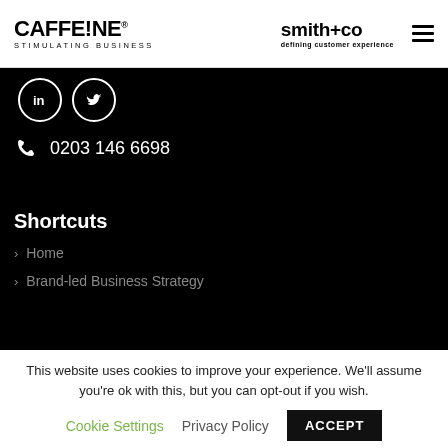CAFFE!NE STIMULATING BUSINESS | smith+co defining customer experience
[Figure (logo): LinkedIn and Twitter social media icons (white circles on black background)]
0203 146 6698
Shortcuts
> Home
> Brand-led Business Strategy
This website uses cookies to improve your experience. We'll assume you're ok with this, but you can opt-out if you wish.
Cookie Settings   Privacy Policy   ACCEPT